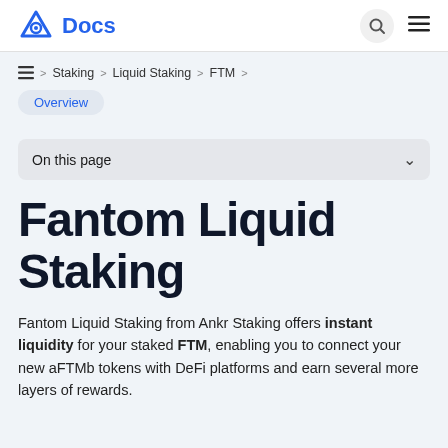Docs
≡ > Staking > Liquid Staking > FTM >
Overview
On this page
Fantom Liquid Staking
Fantom Liquid Staking from Ankr Staking offers instant liquidity for your staked FTM, enabling you to connect your new aFTMb tokens with DeFi platforms and earn several more layers of rewards.